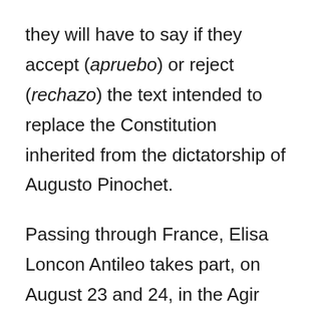they will have to say if they accept (apruebo) or reject (rechazo) the text intended to replace the Constitution inherited from the dictatorship of Augusto Pinochet.
Passing through France, Elisa Loncon Antileo takes part, on August 23 and 24, in the Agir pour le vivant festival in Arles. On the program: a dialogue with the philosopher Edgar Morin and the